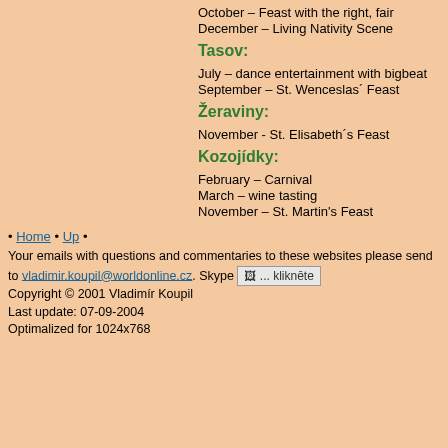October – Feast with the right, fair
December – Living Nativity Scene
Tasov:
July – dance entertainment with bigbeat
September – St. Wenceslas´ Feast
Žeraviny:
November - St. Elisabeth´s Feast
Kozojídky:
February – Carnival
March – wine tasting
November – St. Martin's Feast
• Home • Up •
Your emails with questions and commentaries to these websites please send to vladimir.koupil@worldonline.cz. Skype ... kliknēte
Copyright © 2001 Vladimír Koupil
Last update: 07-09-2004
Optimalized for 1024x768